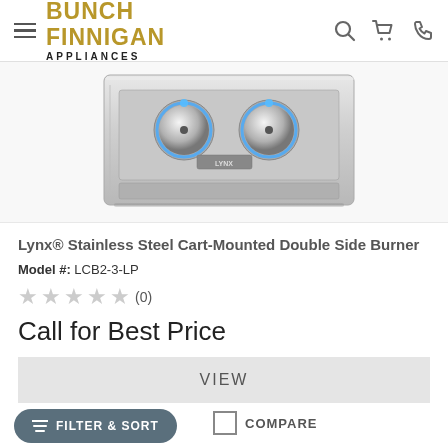Bunch Finnigan Appliances
[Figure (photo): Lynx stainless steel cart-mounted double side burner product photo showing two chrome knobs with blue illumination and Lynx branding]
Lynx® Stainless Steel Cart-Mounted Double Side Burner
Model #: LCB2-3-LP
★★★★★ (0)
Call for Best Price
VIEW
COMPARE